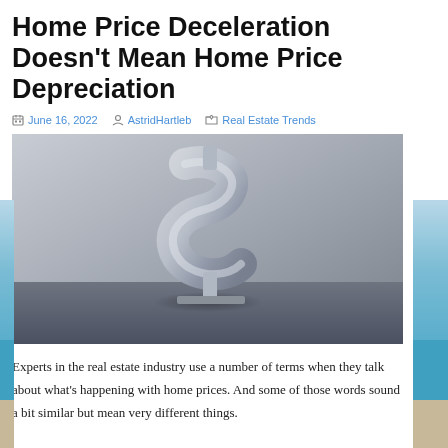Home Price Deceleration Doesn’t Mean Home Price Depreciation
June 16, 2022   AstridHartleb   Real Estate Trends
[Figure (photo): A 3D silver metallic dollar sign standing on a gray surface against a gray background.]
Experts in the real estate industry use a number of terms when they talk about what’s happening with home prices. And some of those words sound a bit similar but mean very different things.